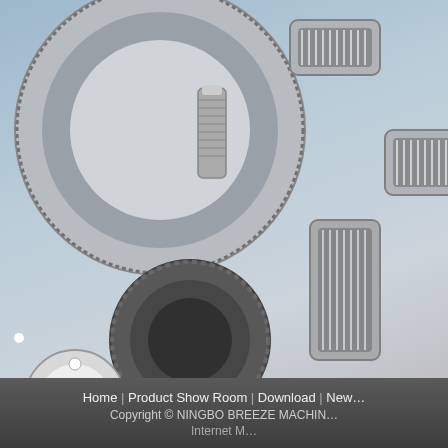[Figure (photo): Collection of various industrial bearings — needle roller bearings, ball bearings, ring gears, and a worm screw against a gradient blue-grey background]
Slew Drive For Dual Axis Solar Tracker
Slewing Bearing Replacement
Slewing Bearing Repair
Heat Treatment Of Slewing Bearing S...
Slewing Drives - Single Worm Drive &...
Hot Products
[Figure (photo): HOT badge with slewing ring bearing product image — large circular slewing ring bearing with inner gear teeth]
Slewing Ring Bearing
[Figure (photo): Partial slewing ring bearing image (cropped)]
Slew...
Home | Product Show Room | Download | New...
Copyright © NINGBO BREEZE MACHIN...
Internet M...